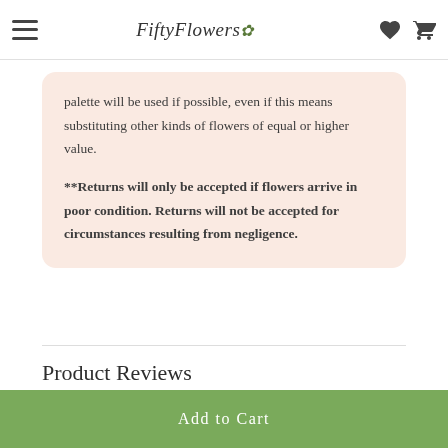FiftyFlowers (navigation bar with hamburger menu, logo, heart and cart icons)
palette will be used if possible, even if this means substituting other kinds of flowers of equal or higher value.
**Returns will only be accepted if flowers arrive in poor condition. Returns will not be accepted for circumstances resulting from negligence.
Product Reviews
Add to Cart